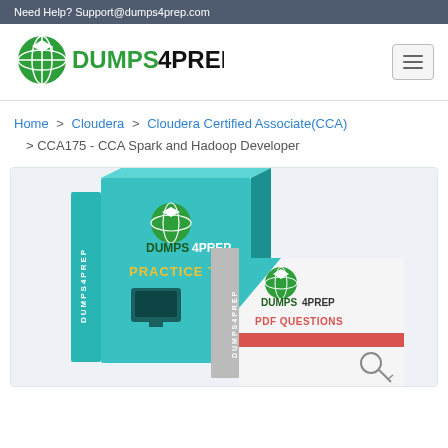Need Help? Support@dumps4prep.com
[Figure (logo): Dumps4Prep logo with green globe icon and bold black text DUMPS4PREP]
Home > Cloudera > Cloudera Certified Associate(CCA) > CCA175 - CCA Spark and Hadoop Developer
[Figure (illustration): Dumps4Prep product box set showing Practice Test and PDF Questions packages with green, teal, white and red design elements]